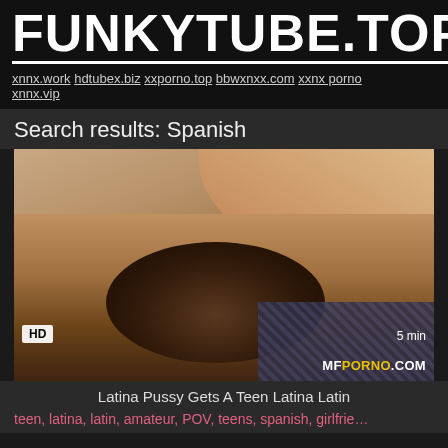FUNKYTUBE.TOP
xnnx.work hdtubex.biz xxporno.top bbwxnxx.com xxnx porno xnnx.vip
Search results: Spanish
[Figure (photo): Video thumbnail showing adult content, with HD badge and 5 min duration label, MFPORNO.COM watermark]
Latina Pussy Gets A Teen Latina Latin
teen, latina, latin, amateur, POV, teens, spanish, girlfrie…